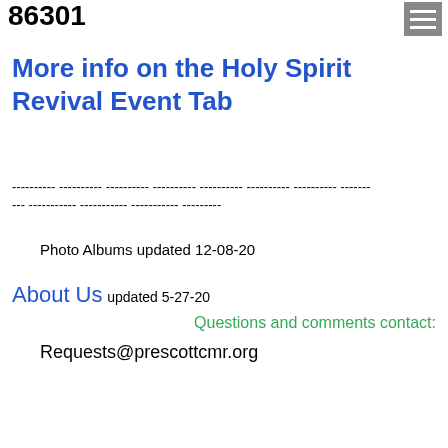86301
More info on the Holy Spirit Revival Event Tab
---------- ---------- ---------- ---------- ---------- ---------- ---------- ------- --- ----------- ----------- ----------- ---------
Photo Albums updated 12-08-20
About Us updated 5-27-20
Questions and comments contact:
Requests@prescottcmr.org